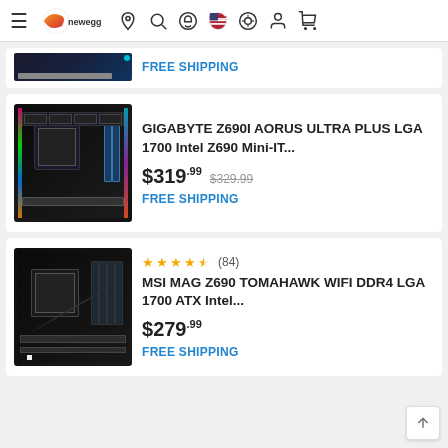Newegg navigation header
[Figure (screenshot): Partial product card showing a motherboard PCIe slot area with FREE SHIPPING label]
FREE SHIPPING
[Figure (photo): GIGABYTE Z690I AORUS ULTRA PLUS motherboard photo - black mini-ITX board with RGB lighting]
GIGABYTE Z690I AORUS ULTRA PLUS LGA 1700 Intel Z690 Mini-IT...
$319.99 $329.99 FREE SHIPPING
[Figure (photo): MSI MAG Z690 TOMAHAWK WIFI DDR4 motherboard photo - black ATX board]
(84) MSI MAG Z690 TOMAHAWK WIFI DDR4 LGA 1700 ATX Intel... $279.99 FREE SHIPPING